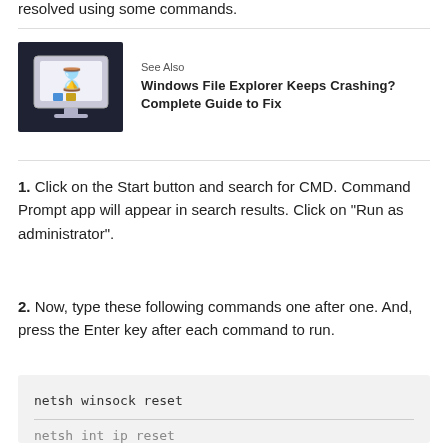resolved using some commands.
[Figure (illustration): Computer monitor with an hourglass icon on screen and colorful icons below it, on a dark background]
See Also
Windows File Explorer Keeps Crashing? Complete Guide to Fix
1. Click on the Start button and search for CMD. Command Prompt app will appear in search results. Click on "Run as administrator".
2. Now, type these following commands one after one. And, press the Enter key after each command to run.
netsh winsock reset

netsh int ip reset